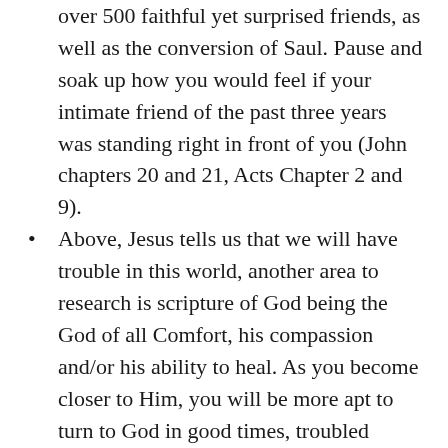over 500 faithful yet surprised friends, as well as the conversion of Saul. Pause and soak up how you would feel if your intimate friend of the past three years was standing right in front of you (John chapters 20 and 21, Acts Chapter 2 and 9).
Above, Jesus tells us that we will have trouble in this world, another area to research is scripture of God being the God of all Comfort, his compassion and/or his ability to heal. As you become closer to Him, you will be more apt to turn to God in good times, troubled times, while in pain, when you need strength, hope and/or